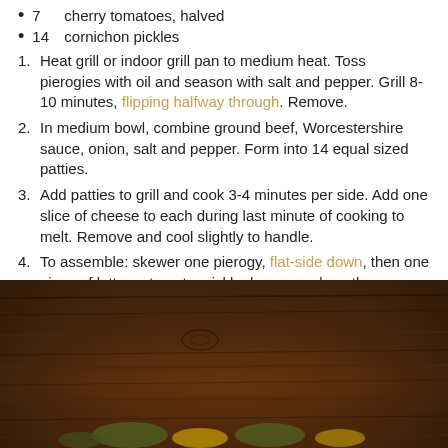7    cherry tomatoes, halved
14    cornichon pickles
1. Heat grill or indoor grill pan to medium heat. Toss pierogies with oil and season with salt and pepper. Grill 8-10 minutes, flipping halfway through. Remove.
2. In medium bowl, combine ground beef, Worcestershire sauce, onion, salt and pepper. Form into 14 equal sized patties.
3. Add patties to grill and cook 3-4 minutes per side. Add one slice of cheese to each during last minute of cooking to melt. Remove and cool slightly to handle.
4. To assemble: skewer one pierogy, flat-side down, then one piece of lettuce, tomato, pickle, burger and another pierogy, flat-side down, to sandwich it all together. Repeat with remaining ingredients.
[Figure (photo): Photo of food (pierogies/sliders) on a dark wooden table surface, viewed from above at an angle showing the rustic wood grain texture.]